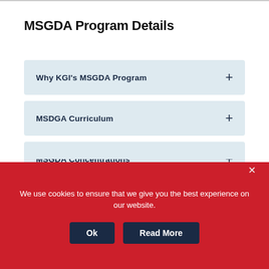MSGDA Program Details
Why KGI's MSGDA Program
MSDGA Curriculum
MSGDA Concentrations
Career Paths
We use cookies to ensure that we give you the best experience on our website.